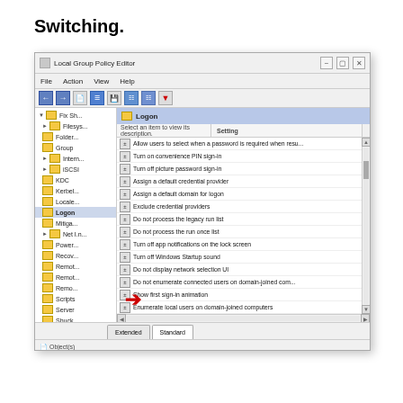Switching.
[Figure (screenshot): Windows Local Group Policy Editor showing the Logon folder selected in the left panel, with a list of policy settings on the right. A red arrow highlights the 'Hide entry points for Fast User Switching' policy item.]